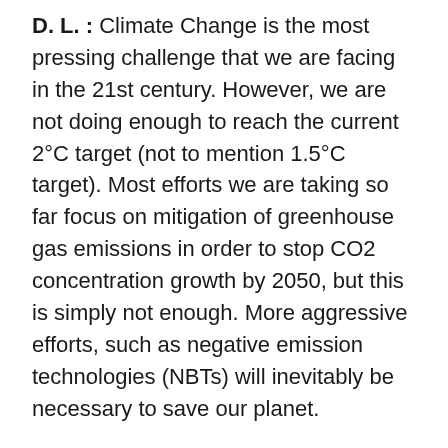D. L. : Climate Change is the most pressing challenge that we are facing in the 21st century. However, we are not doing enough to reach the current 2°C target (not to mention 1.5°C target). Most efforts we are taking so far focus on mitigation of greenhouse gas emissions in order to stop CO2 concentration growth by 2050, but this is simply not enough. More aggressive efforts, such as negative emission technologies (NBTs) will inevitably be necessary to save our planet.
Air pollution, in the meantime, is closely related to climate change. Since a majority of today's air pollution shares the same sources as greenhouse gas emissions, developing air pollution mitigation policies usually result in greenhouse gas emissions reduction, as in China, for example. In addition, air pollution action can be used to raise awareness